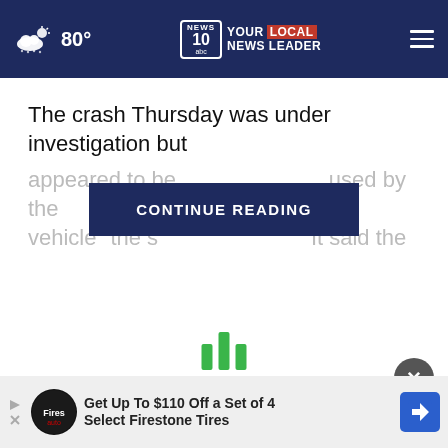80° — NEWS 10 YOUR LOCAL NEWS LEADER
The crash Thursday was under investigation but appeared to be caused by the vehicle" the s... It said the
CONTINUE READING
[Figure (other): Green loading bars spinner indicator]
[Figure (other): Dark circular close button with X]
Get Up To $110 Off a Set of 4 Select Firestone Tires